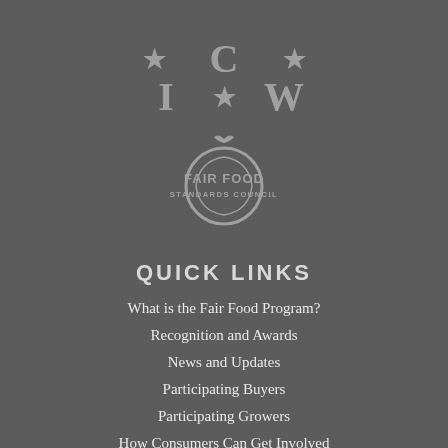[Figure (logo): CIW (Coalition of Immokalee Workers) logo with stars: top row star-C-star, bottom row I-star-W]
[Figure (logo): Fair Food Standards Council logo with tomato illustration and circular text]
QUICK LINKS
What is the Fair Food Program?
Recognition and Awards
News and Updates
Participating Buyers
Participating Growers
How Consumers Can Get Involved
Worker-driven Social Responsibility